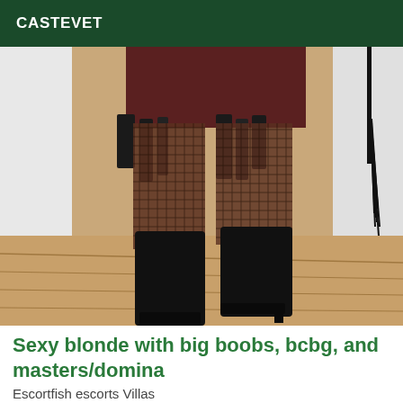CASTEVET
[Figure (photo): Photo showing lower body of a person wearing fishnet stockings, a dark skirt with leather fringes/ties, and tall black high-heeled boots, standing on a wooden floor. A whip or flogger hangs on the wall to the right.]
Sexy blonde with big boobs, bcbg, and masters/domina
Escortfish escorts Villas